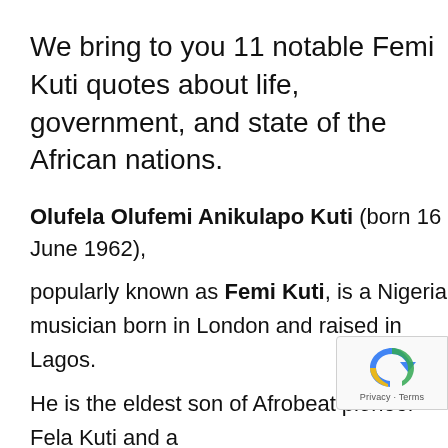We bring to you 11 notable Femi Kuti quotes about life, government, and state of the African nations.
Olufela Olufemi Anikulapo Kuti (born 16 June 1962), popularly known as Femi Kuti, is a Nigerian musician born in London and raised in Lagos.
He is the eldest son of Afrobeat pioneer Fela Kuti and a